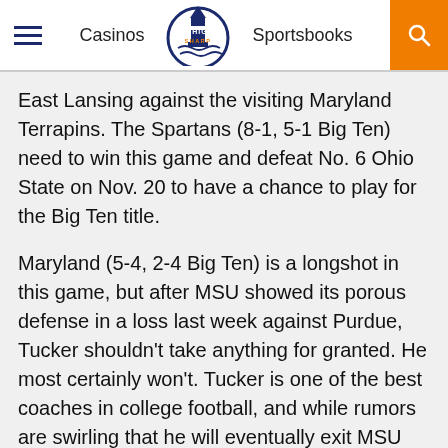Casinos  Michigan Sharp  Sportsbooks
East Lansing against the visiting Maryland Terrapins. The Spartans (8-1, 5-1 Big Ten) need to win this game and defeat No. 6 Ohio State on Nov. 20 to have a chance to play for the Big Ten title.
Maryland (5-4, 2-4 Big Ten) is a longshot in this game, but after MSU showed its porous defense in a loss last week against Purdue, Tucker shouldn't take anything for granted. He most certainly won't. Tucker is one of the best coaches in college football, and while rumors are swirling that he will eventually exit MSU for a marquee job in the SEC, Tucker will have his players ready to whup Maryland as a sort of cleansing after their perfect season was ruined.
If you're new to sports betting, make sure to look for